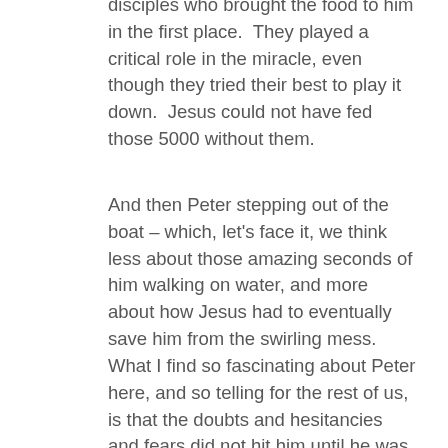disciples who brought the food to him in the first place.  They played a critical role in the miracle, even though they tried their best to play it down.  Jesus could not have fed those 5000 without them.
And then Peter stepping out of the boat – which, let's face it, we think less about those amazing seconds of him walking on water, and more about how Jesus had to eventually save him from the swirling mess.  What I find so fascinating about Peter here, and so telling for the rest of us, is that the doubts and hesitancies and fears did not hit him until he was doing the very thing Jesus called him to do.  Think about that.  Most people encounter the fear of jumping off the high dive at the top of the ladder looking down, not after they've jumped in.  Anxieties about the final exam hit us before test day, not once we've turned it in